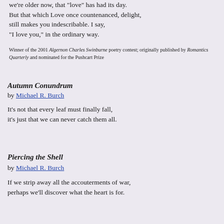we're older now, that "love" has had its day.
But that which Love once countenanced, delight,
still makes you indescribable. I say,
"I love you," in the ordinary way.
Winner of the 2001 Algernon Charles Swinburne poetry contest; originally published by Romantics Quarterly and nominated for the Pushcart Prize
Autumn Conundrum
by Michael R. Burch
It's not that every leaf must finally fall,
it's just that we can never catch them all.
Piercing the Shell
by Michael R. Burch
If we strip away all the accouterments of war,
perhaps we'll discover what the heart is for.